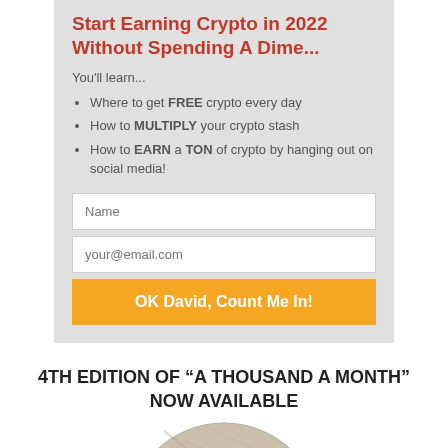Start Earning Crypto in 2022 Without Spending A Dime...
You'll learn...
Where to get FREE crypto every day
How to MULTIPLY your crypto stash
How to EARN a TON of crypto by hanging out on social media!
Name
your@email.com
OK David, Count Me In!
4TH EDITION OF “A THOUSAND A MONTH” NOW AVAILABLE
[Figure (photo): Partial view of a book or coin image, circular crop, marble/stone texture, bottom of page]